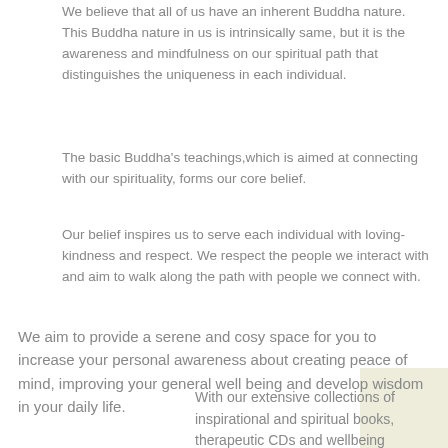We believe that all of us have an inherent Buddha nature. This Buddha nature in us is intrinsically same, but it is the awareness and mindfulness on our spiritual path that distinguishes the uniqueness in each individual.
The basic Buddha's teachings,which is aimed at connecting with our spirituality, forms our core belief.
Our belief inspires us to serve each individual with loving-kindness and respect. We respect the people we interact with and aim to walk along the path with people we connect with.
We aim to provide a serene and cosy space for you to increase your personal awareness about creating peace of mind, improving your general well being and develop wisdom in your daily life.
With our extensive collections of inspirational and spiritual books, therapeutic CDs and wellbeing